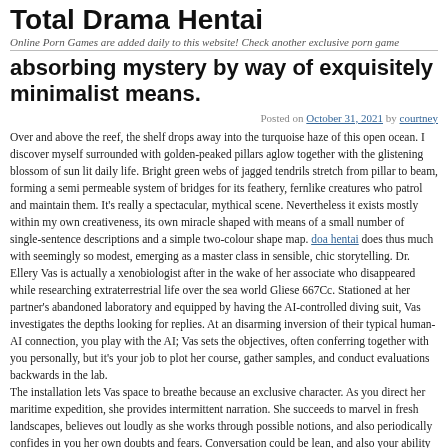Total Drama Hentai
Online Porn Games are added daily to this website! Check another exclusive porn game
absorbing mystery by way of exquisitely minimalist means.
Posted on October 31, 2021 by courtney
Over and above the reef, the shelf drops away into the turquoise haze of this open ocean. I discover myself surrounded with golden-peaked pillars aglow together with the glistening blossom of sun lit daily life. Bright green webs of jagged tendrils stretch from pillar to beam, forming a semi permeable system of bridges for its feathery, fernlike creatures who patrol and maintain them. It’s really a spectacular, mythical scene. Nevertheless it exists mostly within my own creativeness, its own miracle shaped with means of a small number of single-sentence descriptions and a simple two-colour shape map. doa hentai does thus much with seemingly so modest, emerging as a master class in sensible, chic storytelling. Dr. Ellery Vas is actually a xenobiologist after in the wake of her associate who disappeared while researching extraterrestrial life over the sea world Gliese 667Cc. Stationed at her partner’s abandoned laboratory and equipped by having the AI-controlled diving suit, Vas investigates the depths looking for replies. At an disarming inversion of their typical human-AI connection, you play with the AI; Vas sets the objectives, often conferring together with you personally, but it’s your job to plot her course, gather samples, and conduct evaluations backwards in the lab.
The installation lets Vas space to breathe because an exclusive character. As you direct her maritime expedition, she provides intermittent narration. She succeeds to marvel in fresh landscapes, believes out loudly as she works through possible notions, and also periodically confides in you her own doubts and fears. Conversation could be lean, and also your ability to respond would be limited by the odd yes or no solution, yet it really is